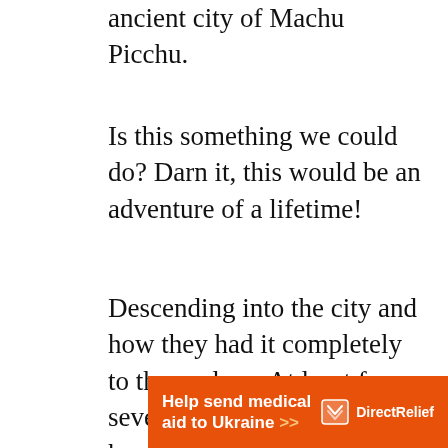ancient city of Machu Picchu.
Is this something we could do? Darn it, this would be an adventure of a lifetime!
Descending into the city and how they had it completely to themselves. At least for several hours, until the hordes of tourists arrived.
[Figure (other): Orange advertisement banner for Direct Relief: 'Help send medical aid to Ukraine >>' with Direct Relief logo on the right]